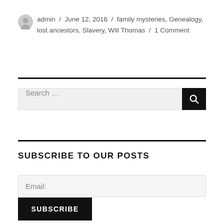admin / June 12, 2016 / family mysteries, Genealogy, lost ancestors, Slavery, Will Thomas / 1 Comment
Search ...
SUBSCRIBE TO OUR POSTS
Email:
SUBSCRIBE